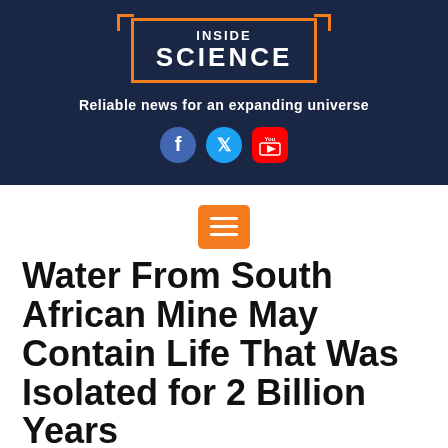[Figure (logo): Inside Science logo — white text 'INSIDE SCIENCE' in orange bracket frame on dark navy background]
Reliable news for an expanding universe
[Figure (infographic): Social media icons: Facebook (blue circle), Twitter (blue circle), YouTube (red rounded square)]
[Figure (infographic): Orange hamburger menu button with three white lines]
Water From South African Mine May Contain Life That Was Isolated for 2 Billion Years
The water contains bacterialike shapes that researchers plan to test for DNA